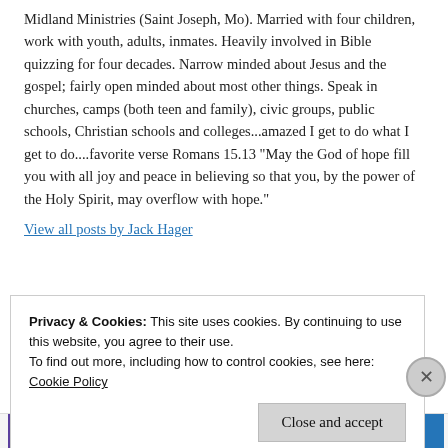Midland Ministries (Saint Joseph, Mo). Married with four children, work with youth, adults, inmates. Heavily involved in Bible quizzing for four decades. Narrow minded about Jesus and the gospel; fairly open minded about most other things. Speak in churches, camps (both teen and family), civic groups, public schools, Christian schools and colleges...amazed I get to do what I get to do....favorite verse Romans 15.13 "May the God of hope fill you with all joy and peace in believing so that you, by the power of the Holy Spirit, may overflow with hope."
View all posts by Jack Hager
Privacy & Cookies: This site uses cookies. By continuing to use this website, you agree to their use.
To find out more, including how to control cookies, see here:
Cookie Policy